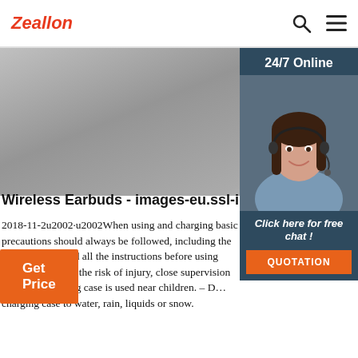Zeallon
[Figure (photo): Hero image of wireless earbuds on a gray surface with a white earbud case partially visible in the upper right corner]
[Figure (photo): 24/7 Online sidebar with a customer service representative wearing a headset, smiling. Includes 'Click here for free chat!' text and an orange QUOTATION button.]
Wireless Earbuds - images-eu.ssl-images-am
2018-11-2u2002·u2002When using and charging basic precautions should always be followed, including the following: – Read all the instructions before using case. – To reduce the risk of injury, close supervision when the charging case is used near children. – D… charging case to water, rain, liquids or snow.
Get Price